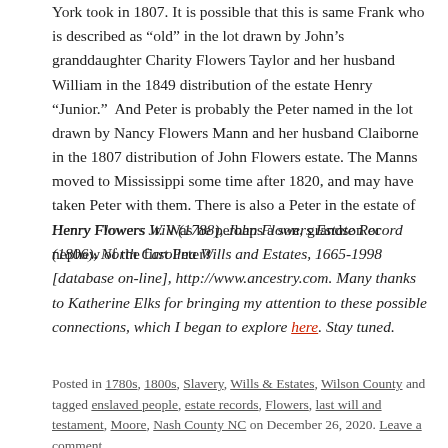York took in 1807. It is possible that this is same Frank who is described as “old” in the lot drawn by John’s granddaughter Charity Flowers Taylor and her husband William in the 1849 distribution of the estate Henry “Junior.”  And Peter is probably the Peter named in the lot drawn by Nancy Flowers Mann and her husband Claiborne in the 1807 distribution of John Flowers estate. The Manns moved to Mississippi some time after 1820, and may have taken Peter with them. There is also a Peter in the estate of Henry Flowers Jr. Was he perhaps a son, grandson or nephew of the first Peter?
Henry Flowers Will (1788), John Flowers Estate Record (1806), North Carolina Wills and Estates, 1665-1998 [database on-line], http://www.ancestry.com. Many thanks to Katherine Elks for bringing my attention to these possible connections, which I began to explore here. Stay tuned.
Posted in 1780s, 1800s, Slavery, Wills & Estates, Wilson County and tagged enslaved people, estate records, Flowers, last will and testament, Moore, Nash County NC on December 26, 2020. Leave a comment